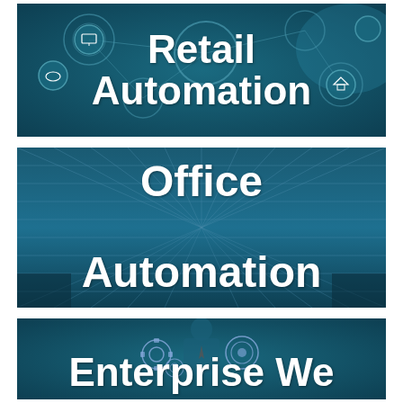[Figure (illustration): Dark teal banner image with technology/network icons showing interconnected circles with various icons (monitor, cloud, shopping, globe, etc.). Bold white text reads 'Retail Automation'.]
[Figure (illustration): Dark teal banner image with a grid/tunnel perspective pattern suggesting an office environment. Bold white text reads 'Office Automation'.]
[Figure (illustration): Dark teal banner image showing a person in suit with gear/target icons. Partially visible bold white text reads 'Enterprise We...' (cut off at bottom of page).]